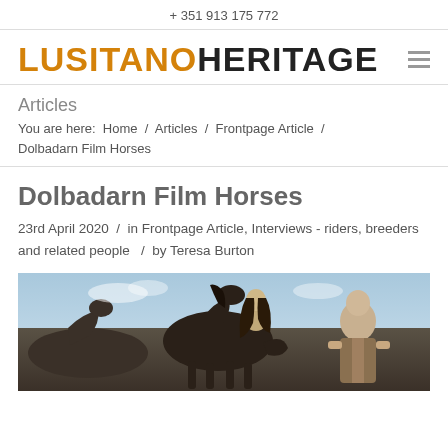+ 351 913 175 772
[Figure (logo): Lusitano Heritage logo with orange 'LUSITANO' and black 'HERITAGE' text, with a hamburger menu icon on the right]
Articles
You are here:  Home  /  Articles  /  Frontpage Article  /  Dolbadarn Film Horses
Dolbadarn Film Horses
23rd April 2020  /  in Frontpage Article, Interviews - riders, breeders and related people   /  by Teresa Burton
[Figure (photo): Photo of two people with dark horses outdoors under a blue sky]